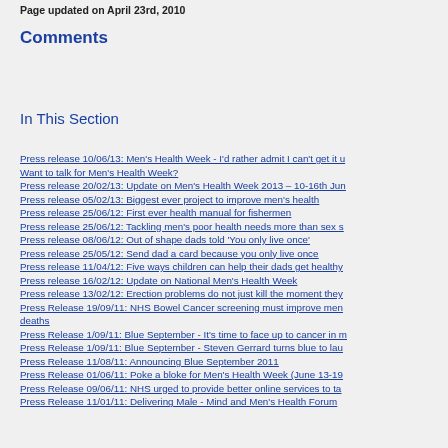Page updated on April 23rd, 2010
Comments
In This Section
Press release 10/06/13: Men's Health Week - I'd rather admit I can't get it u…
Want to talk for Men's Health Week?
Press release 20/02/13: Update on Men's Health Week 2013 – 10-16th Jun…
Press release 05/02/13: Biggest ever project to improve men's health
Press release 25/06/12: First ever health manual for fishermen
Press release 25/06/12: Tackling men's poor health needs more than sex s…
Press release 08/06/12: Out of shape dads told 'You only live once'
Press release 25/05/12: Send dad a card because you only live once
Press release 11/04/12: Five ways children can help their dads get healthy
Press release 16/02/12: Update on National Men's Health Week
Press release 13/02/12: Erection problems do not just kill the moment they…
Press Release 19/09/11: NHS Bowel Cancer screening must improve men…
deaths
Press Release 1/09/11: Blue September - It's time to face up to cancer in m…
Press Release 1/09/11: Blue September - Steven Gerrard turns blue to lau…
Press Release 11/08/11: Announcing Blue September 2011
Press Release 01/06/11: Poke a bloke for Men's Health Week (June 13-19…
Press Release 09/06/11: NHS urged to provide better online services to ta…
Press Release 11/01/11: Delivering Male - Mind and Men's Health Forum